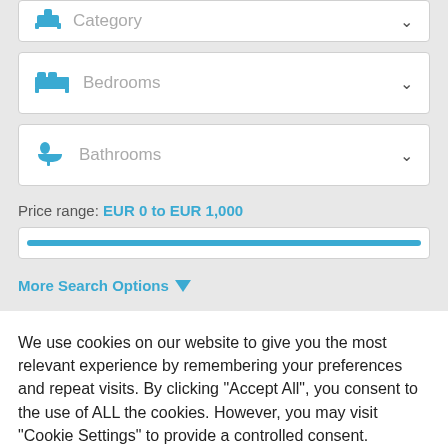Category
Bedrooms
Bathrooms
Price range: EUR 0 to EUR 1,000
More Search Options
We use cookies on our website to give you the most relevant experience by remembering your preferences and repeat visits. By clicking "Accept All", you consent to the use of ALL the cookies. However, you may visit "Cookie Settings" to provide a controlled consent.
Cookie Settings
Accept All